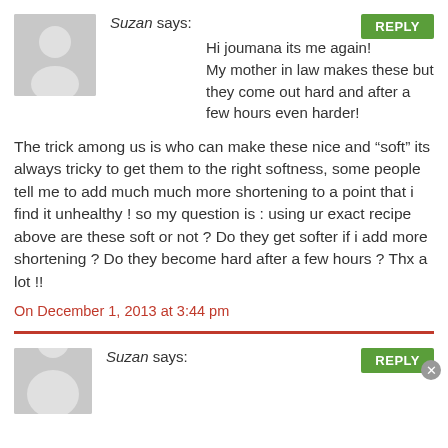[Figure (illustration): Gray placeholder avatar with silhouette of a person, square with rounded corners]
Suzan says:
REPLY
Hi joumana its me again!
My mother in law makes these but they come out hard and after a few hours even harder!
The trick among us is who can make these nice and “soft” its always tricky to get them to the right softness, some people tell me to add much much more shortening to a point that i find it unhealthy ! so my question is : using ur exact recipe above are these soft or not ? Do they get softer if i add more shortening ? Do they become hard after a few hours ? Thx a lot !!
On December 1, 2013 at 3:44 pm
[Figure (illustration): Gray placeholder avatar with silhouette of a person, partially visible at bottom]
Suzan says:
REPLY